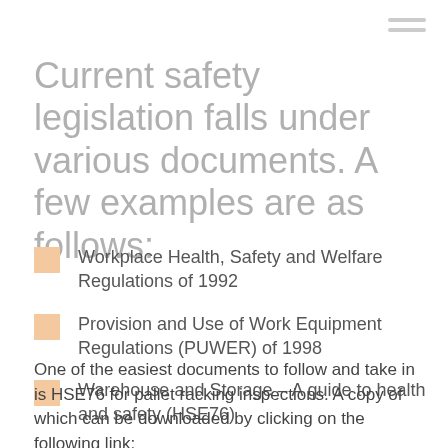Current safety legislation falls under various documents. A few examples are as follows:
Workplace Health, Safety and Welfare Regulations of 1992
Provision and Use of Work Equipment Regulations (PUWER) of 1998
Warehouse and Storage – A guide to health and safety (HSE76)
One of the easiest documents to follow and take in is HSE76 for pallet racking inspections. A copy of which can be downloaded by clicking on the following link: